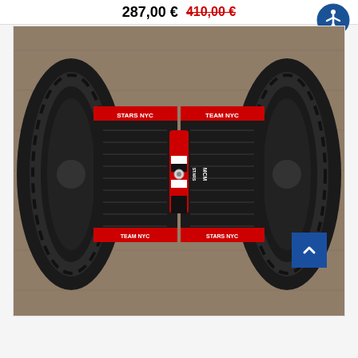287,00 € 410,00 €
[Figure (photo): A hoverboard / self-balancing scooter photographed from above on a wooden floor. The device has large off-road black tires on each side, black foot platforms, and a colorful graphic wrap in red, white and black with text including 'MCM' and 'STARS' in the center section.]